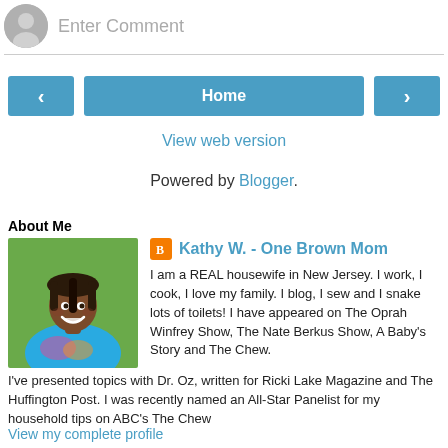Enter Comment
Home
View web version
Powered by Blogger.
About Me
[Figure (photo): Profile photo of Kathy W., a woman smiling, wearing a blue top, outdoors with green background.]
Kathy W. - One Brown Mom
I am a REAL housewife in New Jersey. I work, I cook, I love my family. I blog, I sew and I snake lots of toilets! I have appeared on The Oprah Winfrey Show, The Nate Berkus Show, A Baby's Story and The Chew. I've presented topics with Dr. Oz, written for Ricki Lake Magazine and The Huffington Post. I was recently named an All-Star Panelist for my household tips on ABC's The Chew
View my complete profile